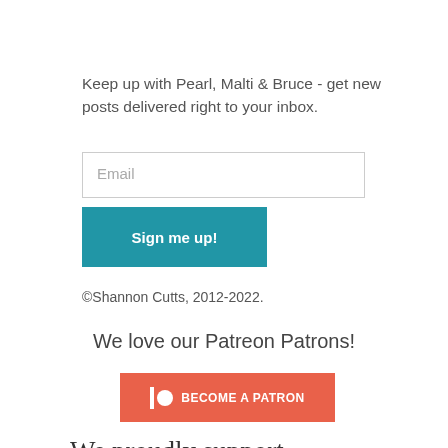Keep up with Pearl, Malti & Bruce - get new posts delivered right to your inbox.
Email
Sign me up!
©Shannon Cutts, 2012-2022.
We love our Patreon Patrons!
[Figure (other): Patreon 'Become a Patron' button in coral/salmon color with Patreon logo icon and bold white text]
We proudly support these amazing